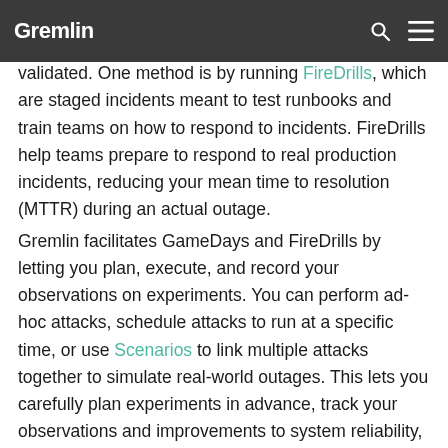Gremlin
respond to outages. As systems change over time, these runbooks must be continuously updated and validated. One method is by running FireDrills, which are staged incidents meant to test runbooks and train teams on how to respond to incidents. FireDrills help teams prepare to respond to real production incidents, reducing your mean time to resolution (MTTR) during an actual outage.
Gremlin facilitates GameDays and FireDrills by letting you plan, execute, and record your observations on experiments. You can perform ad-hoc attacks, schedule attacks to run at a specific time, or use Scenarios to link multiple attacks together to simulate real-world outages. This lets you carefully plan experiments in advance, track your observations and improvements to system reliability, and easily halt experiments at any time.